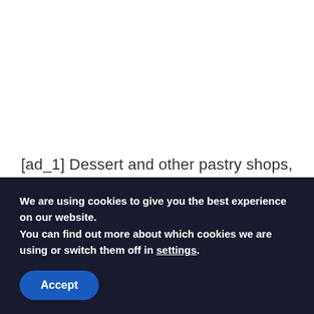[ad_1] Dessert and other pastry shops, the book by Pamela Rodriguez. A book in which we will find the sweetest, most impressive and varied recipes from the Uno de Dos ... Read
We are using cookies to give you the best experience on our website.
You can find out more about which cookies we are using or switch them off in settings.